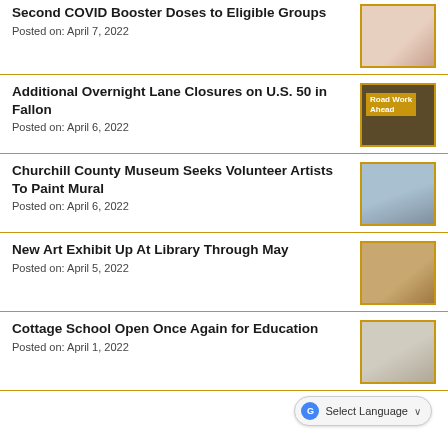Second COVID Booster Doses to Eligible Groups
Posted on: April 7, 2022
[Figure (photo): Medical/vaccination photo]
Additional Overnight Lane Closures on U.S. 50 in Fallon
Posted on: April 6, 2022
[Figure (photo): Road Work Ahead sign on construction vehicle]
Churchill County Museum Seeks Volunteer Artists To Paint Mural
Posted on: April 6, 2022
[Figure (photo): Large mural wall outdoor scene]
New Art Exhibit Up At Library Through May
Posted on: April 5, 2022
[Figure (photo): Art exhibit painting in a frame]
Cottage School Open Once Again for Education
Posted on: April 1, 2022
[Figure (photo): Group of people in front of a building]